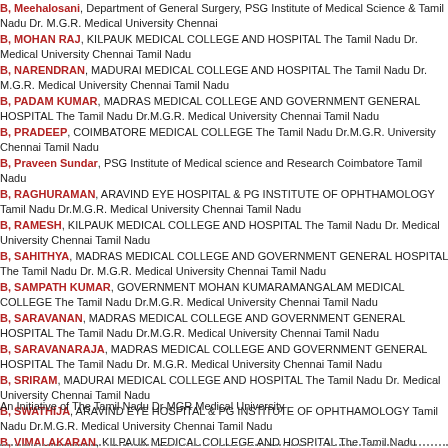B, Meehalosani, Department of General Surgery, PSG Institute of Medical Science Tamil Nadu Dr. M.G.R. Medical University Chennai
B, MOHAN RAJ, KILPAUK MEDICAL COLLEGE AND HOSPITAL The Tamil Nadu Dr. Medical University Chennai Tamil Nadu
B, NARENDRAN, MADURAI MEDICAL COLLEGE AND HOSPITAL The Tamil Nadu Dr. M.G.R. Medical University Chennai Tamil Nadu
B, PADAM KUMAR, MADRAS MEDICAL COLLEGE AND GOVERNMENT GENERAL HOSPITAL The Tamil Nadu Dr.M.G.R. Medical University Chennai Tamil Nadu
B, PRADEEP, COIMBATORE MEDICAL COLLEGE The Tamil Nadu Dr.M.G.R. University Chennai Tamil Nadu
B, Praveen Sundar, PSG Institute of Medical science and Research Coimbatore Tamil Nadu
B, RAGHURAMAN, ARAVIND EYE HOSPITAL & PG INSTITUTE OF OPHTHAMOLOGY Tamil Nadu Dr.M.G.R. Medical University Chennai Tamil Nadu
B, RAMESH, KILPAUK MEDICAL COLLEGE AND HOSPITAL The Tamil Nadu Dr. Medical University Chennai Tamil Nadu
B, SAHITHYA, MADRAS MEDICAL COLLEGE AND GOVERNMENT GENERAL HOSPITAL The Tamil Nadu Dr. M.G.R. Medical University Chennai Tamil Nadu
B, SAMPATH KUMAR, GOVERNMENT MOHAN KUMARAMANGALAM MEDICAL COLLEGE The Tamil Nadu Dr.M.G.R. Medical University Chennai Tamil Nadu
B, SARAVANAN, MADRAS MEDICAL COLLEGE AND GOVERNMENT GENERAL HOSPITAL The Tamil Nadu Dr.M.G.R. Medical University Chennai Tamil Nadu
B, SARAVANARAJA, MADRAS MEDICAL COLLEGE AND GOVERNMENT GENERAL HOSPITAL The Tamil Nadu Dr. M.G.R. Medical University Chennai Tamil Nadu
B, SRIRAM, MADURAI MEDICAL COLLEGE AND HOSPITAL The Tamil Nadu Dr. Medical University Chennai Tamil Nadu
B, SWATHIJA, ARAVIND EYE HOSPITAL & PG INSTITUTE OF OPHTHAMOLOGY Tamil Nadu Dr.M.G.R. Medical University Chennai Tamil Nadu
B, VIMALAKARAN, KILPAUK MEDICAL COLLEGE AND HOSPITAL The Tamil Nadu Dr.M.G.R. Medical University Chennai Tamil Nadu
526 - 550 of 1998
Items << < 10 11 12 13 14 15 16 17 18 19 20 21 22 23 24 25 26 27 28 29 30 31 32
An Initiative of The Tamil Nadu Dr MGR Medical University